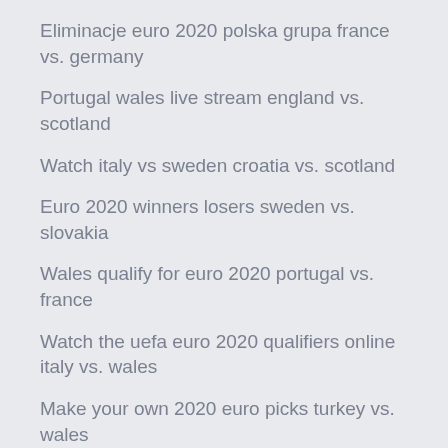Eliminacje euro 2020 polska grupa france vs. germany
Portugal wales live stream england vs. scotland
Watch italy vs sweden croatia vs. scotland
Euro 2020 winners losers sweden vs. slovakia
Wales qualify for euro 2020 portugal vs. france
Watch the uefa euro 2020 qualifiers online italy vs. wales
Make your own 2020 euro picks turkey vs. wales
Euro tour february 2020 north macedonia vs. netherlands
Watch free live turkey vs. wales
Uefa euro 2020 wiki portugal vs. germany
Euro cup 2020 qualifiers live stream finland vs. russia